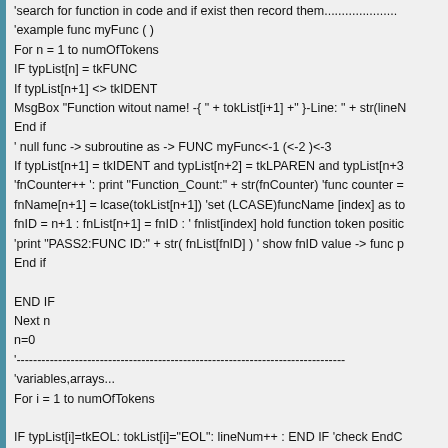'search for function in code and if exist then record them.......................
'example func myFunc ( )
For n = 1 to numOfTokens
IF typList[n] = tkFUNC
If typList[n+1] <> tkIDENT
MsgBox "Function witout name! -{ " + tokList[i+1] +" }-Line: " + str(lineN
End if
' null func -> subroutine as -> FUNC myFunc<-1 (<-2 )<-3
If typList[n+1] = tkIDENT and typList[n+2] = tkLPAREN and typList[n+3
'fnCounter++ ': print "Function_Count:" + str(fnCounter) 'func counter =
fnName[n+1] = lcase(tokList[n+1]) 'set (LCASE)funcName [index] as to
fnID = n+1 : fnList[n+1] = fnID : ' fnlist[index] hold function token positic
'print "PASS2:FUNC ID:" + str( fnList[fnID] ) ' show fnID value -> func p
End if

END IF
Next n
n=0
'-------------------------------------------------------------------------------
'variables,arrays...
For i = 1 to numOfTokens

IF typList[i]=tkEOL: tokList[i]="EOL": lineNum++ : END IF 'check EndC

IF typList[i] = tkIDENT